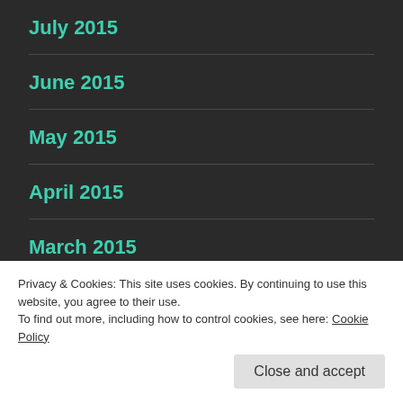July 2015
June 2015
May 2015
April 2015
March 2015
February 2015
Privacy & Cookies: This site uses cookies. By continuing to use this website, you agree to their use.
To find out more, including how to control cookies, see here: Cookie Policy
Close and accept